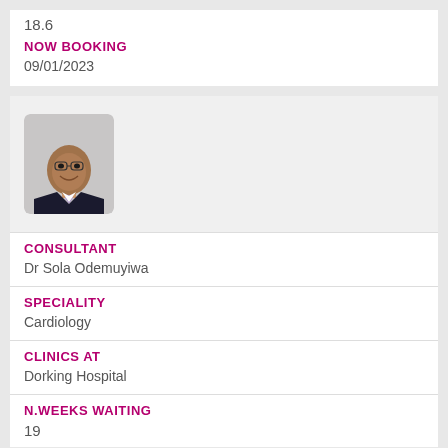18.6
NOW BOOKING
09/01/2023
[Figure (photo): Headshot photo of Dr Sola Odemuyiwa, a man in a dark suit with a light purple tie, smiling]
CONSULTANT
Dr Sola Odemuyiwa
SPECIALITY
Cardiology
CLINICS AT
Dorking Hospital
N.WEEKS WAITING
19